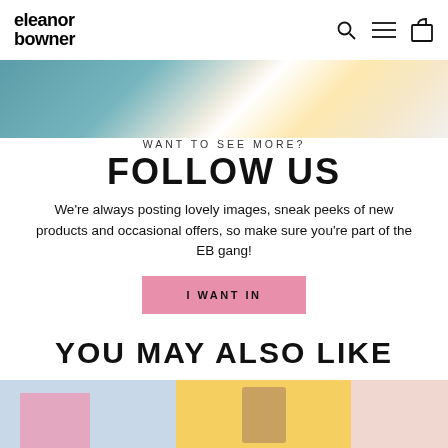eleanor bowner — navigation header with search, menu, and bag icons
[Figure (photo): Partial view of lifestyle product photography showing a teal sofa, printed book/magazine, and gold-framed items on white background]
WANT TO SEE MORE?
FOLLOW US
We're always posting lovely images, sneak peeks of new products and occasional offers, so make sure you're part of the EB gang!
I WANT IN
YOU MAY ALSO LIKE
[Figure (photo): Three product images at bottom: light blue background with pink card, yellow background with textured product, and partial pink/peach product]